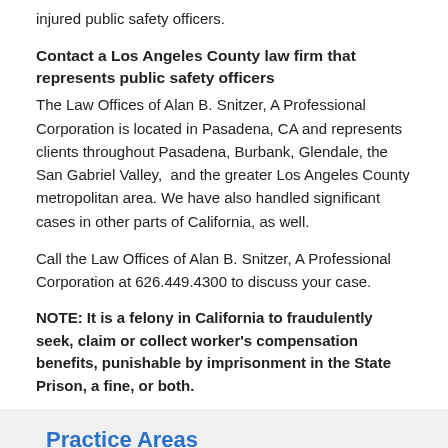injured public safety officers.
Contact a Los Angeles County law firm that represents public safety officers
The Law Offices of Alan B. Snitzer, A Professional Corporation is located in Pasadena, CA and represents clients throughout Pasadena, Burbank, Glendale, the San Gabriel Valley,  and the greater Los Angeles County metropolitan area. We have also handled significant cases in other parts of California, as well.
Call the Law Offices of Alan B. Snitzer, A Professional Corporation at 626.449.4300 to discuss your case.
NOTE: It is a felony in California to fraudulently seek, claim or collect worker's compensation benefits, punishable by imprisonment in the State Prison, a fine, or both.
Practice Areas
Personal Injury
Wrongful Death